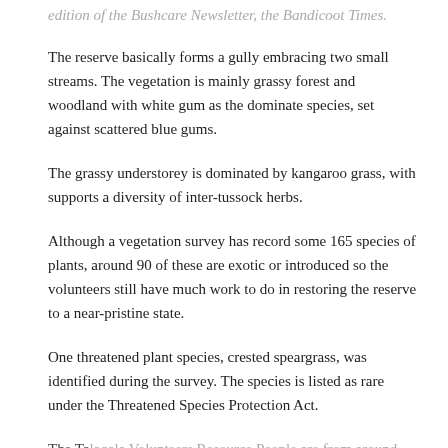edition of the Bushcare Newsletter, the Bandicoot Times.
The reserve basically forms a gully embracing two small streams. The vegetation is mainly grassy forest and woodland with white gum as the dominate species, set against scattered blue gums.
The grassy understorey is dominated by kangaroo grass, with supports a diversity of inter-tussock herbs.
Although a vegetation survey has record some 165 species of plants, around 90 of these are exotic or introduced so the volunteers still have much work to do in restoring the reserve to a near-pristine state.
One threatened plant species, crested speargrass, was identified during the survey. The species is listed as rare under the Threatened Species Protection Act.
The Talagala Volunteers Resource People are from around...